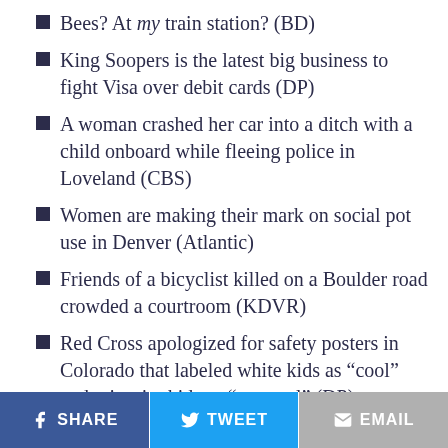Bees? At my train station? (BD)
King Soopers is the latest big business to fight Visa over debit cards (DP)
A woman crashed her car into a ditch with a child onboard while fleeing police in Loveland (CBS)
Women are making their mark on social pot use in Denver (Atlantic)
Friends of a bicyclist killed on a Boulder road crowded a courtroom (KDVR)
Red Cross apologized for safety posters in Colorado that labeled white kids as “cool” and minority kids as “not cool” (DP)
The Avalanche should look a lot younger on defense next season (DP)
Just when you figured out how to put it
SHARE  TWEET  EMAIL